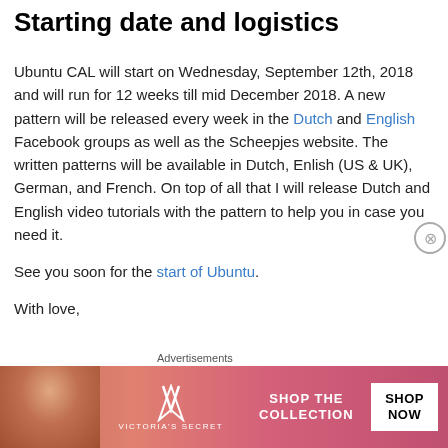Starting date and logistics
Ubuntu CAL will start on Wednesday, September 12th, 2018 and will run for 12 weeks till mid December 2018. A new pattern will be released every week in the Dutch and English Facebook groups as well as the Scheepjes website. The written patterns will be available in Dutch, Enlish (US & UK), German, and French. On top of all that I will release Dutch and English video tutorials with the pattern to help you in case you need it.
See you soon for the start of Ubuntu.
With love,
[Figure (photo): Victoria's Secret advertisement banner with Shop The Collection text and Shop Now button]